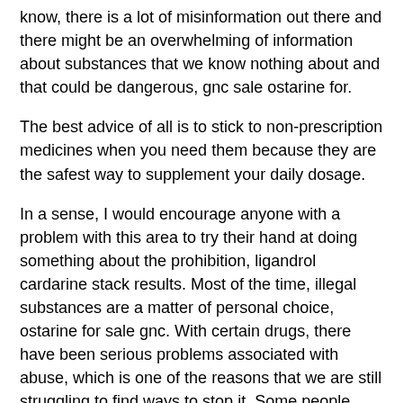know, there is a lot of misinformation out there and there might be an overwhelming of information about substances that we know nothing about and that could be dangerous, gnc sale ostarine for.
The best advice of all is to stick to non-prescription medicines when you need them because they are the safest way to supplement your daily dosage.
In a sense, I would encourage anyone with a problem with this area to try their hand at doing something about the prohibition, ligandrol cardarine stack results. Most of the time, illegal substances are a matter of personal choice, ostarine for sale gnc. With certain drugs, there have been serious problems associated with abuse, which is one of the reasons that we are still struggling to find ways to stop it. Some people may